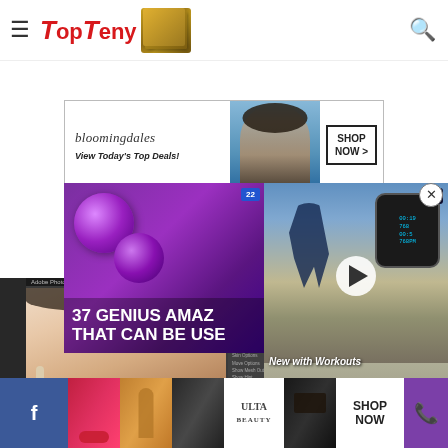TopTeny - website header with hamburger menu, logo, and search icon
efforts with the right tool. However, experts advise designers to use this tool in moderation for the best results.
[Figure (screenshot): Bloomingdales advertisement banner: 'View Today's Top Deals!' with woman in hat and 'SHOP NOW >' button]
[Figure (screenshot): Video ad overlay: '37 GENIUS AMAZING... THAT CAN BE USE...' text in bold white on purple background]
[Figure (screenshot): Apple Watch video ad with runner, watch display, 'New with Workouts' text, play button, color wheel and 'ai' badge. 'CLOSE' button visible.]
[Figure (screenshot): Adobe Photoshop interface screenshot showing a woman's face being retouched, with tools panel, adjustments, and color picker panels]
[Figure (screenshot): Bottom advertisement bar with Facebook button, makeup product images, Ulta Beauty logo, 'SHOP NOW' button, and phone icon on purple background]